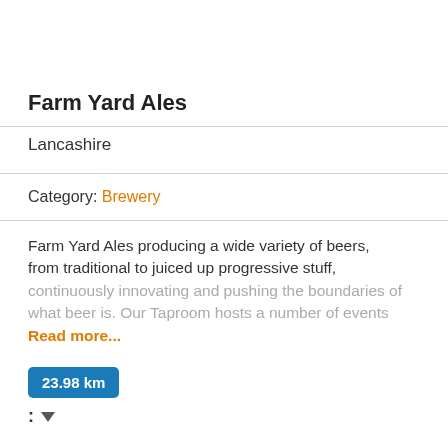Farm Yard Ales
Lancashire
Category: Brewery
Farm Yard Ales producing a wide variety of beers, from traditional to juiced up progressive stuff, continuously innovating and pushing the boundaries of what beer is. Our Taproom hosts a number of events Read more...
23.98 km